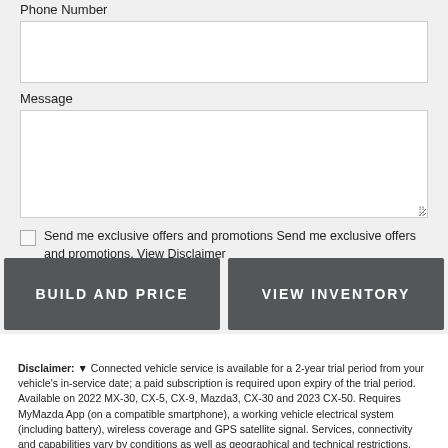Phone Number
Message
Send me exclusive offers and promotions Send me exclusive offers and promotions. View Disclaimer
SUBMIT
BUILD AND PRICE
VIEW INVENTORY
Disclaimer: ▼ Connected vehicle service is available for a 2-year trial period from your vehicle's in-service date; a paid subscription is required upon expiry of the trial period. Available on 2022 MX-30, CX-5, CX-9, Mazda3, CX-30 and 2023 CX-50. Requires MyMazda App (on a compatible smartphone), a working vehicle electrical system (including battery), wireless coverage and GPS satellite signal. Services, connectivity and capabilities vary by conditions as well as geographical and technical restrictions. See